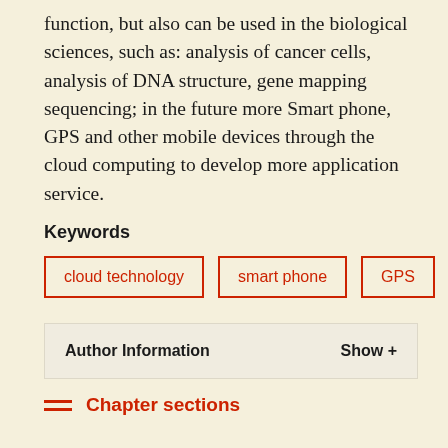function, but also can be used in the biological sciences, such as: analysis of cancer cells, analysis of DNA structure, gene mapping sequencing; in the future more Smart phone, GPS and other mobile devices through the cloud computing to develop more application service.
Keywords
cloud technology
smart phone
GPS
Author Information   Show +
Chapter sections